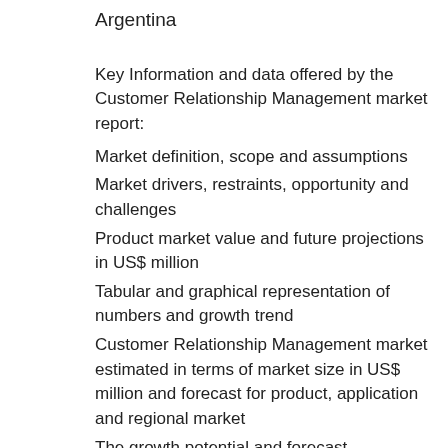Argentina
Key Information and data offered by the Customer Relationship Management market report:
Market definition, scope and assumptions
Market drivers, restraints, opportunity and challenges
Product market value and future projections in US$ million
Tabular and graphical representation of numbers and growth trend
Customer Relationship Management market estimated in terms of market size in US$ million and forecast for product, application and regional market
The growth potential and forecast information for Global Customer Relationship Management Market and for segments, by region and by country.
The report includes competitive analysis of the Customer Relationship Management market comprising